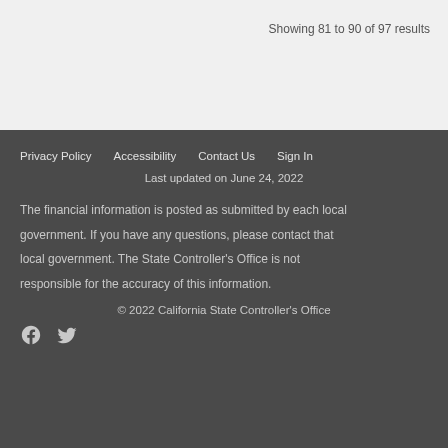Showing 81 to 90 of 97 results
Privacy Policy   Accessibility   Contact Us   Sign In
Last updated on June 24, 2022
The financial information is posted as submitted by each local government. If you have any questions, please contact that local government. The State Controller's Office is not responsible for the accuracy of this information.
© 2022 California State Controller's Office